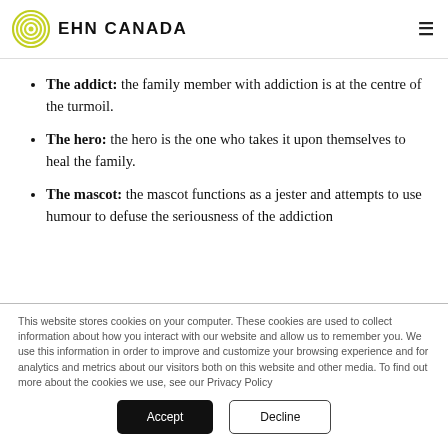EHN CANADA
The addict: the family member with addiction is at the centre of the turmoil.
The hero: the hero is the one who takes it upon themselves to heal the family.
The mascot: the mascot functions as a jester and attempts to use humour to defuse the seriousness of the addiction
This website stores cookies on your computer. These cookies are used to collect information about how you interact with our website and allow us to remember you. We use this information in order to improve and customize your browsing experience and for analytics and metrics about our visitors both on this website and other media. To find out more about the cookies we use, see our Privacy Policy